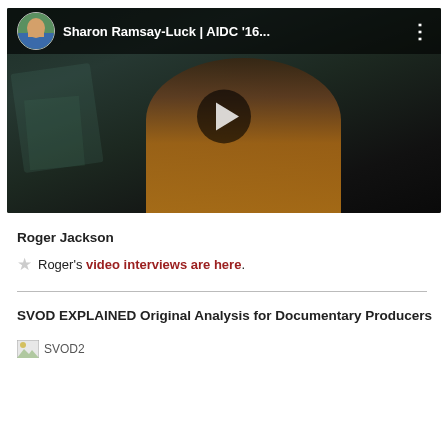[Figure (screenshot): YouTube video thumbnail showing a woman with glasses and blonde hair wearing an orange/yellow top, in a dark setting. The video title bar shows a circular avatar of a man outdoors, the title 'Sharon Ramsay-Luck | AIDC '16...' and a three-dot menu icon. A play button (triangle in dark circle) is centered on the thumbnail.]
Roger Jackson
Roger's video interviews are here.
SVOD EXPLAINED Original Analysis for Documentary Producers
[Figure (illustration): Broken image placeholder labeled SVOD2]